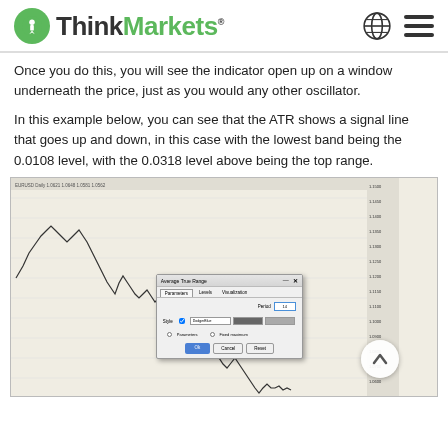ThinkMarkets
Once you do this, you will see the indicator open up on a window underneath the price, just as you would any other oscillator.
In this example below, you can see that the ATR shows a signal line that goes up and down, in this case with the lowest band being the 0.0108 level, with the 0.0318 level above being the top range.
[Figure (screenshot): Screenshot of a trading chart (price chart showing a downtrend) with an Average True Range (ATR) indicator dialog box open showing parameters, levels, and visualization tabs with OK, Cancel, and Reset buttons. A scroll-up button is visible in the lower right corner. Price scale on the right shows levels from approximately 1.0600 to 1.1500.]